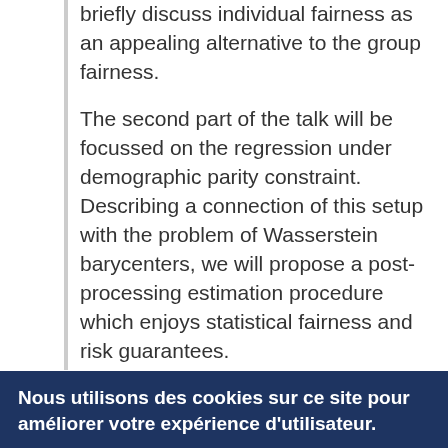briefly discuss individual fairness as an appealing alternative to the group fairness.
The second part of the talk will be focussed on the regression under demographic parity constraint. Describing a connection of this setup with the problem of Wasserstein barycenters, we will propose a post-processing estimation procedure which enjoys statistical fairness and risk guarantees.
Finally, we will discuss the notion of risk/fairness trade-off in the problem of regression under the demographic parity constraint. In particular, we will propose
Nous utilisons des cookies sur ce site pour améliorer votre expérience d'utilisateur.